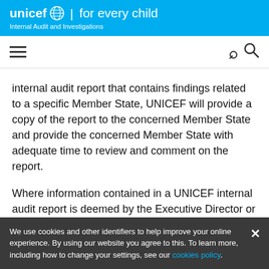unicef for every child — Internal Audit and Investigations
[Figure (other): Navigation bar with hamburger menu icon on the left and search icon on the right]
internal audit report that contains findings related to a specific Member State, UNICEF will provide a copy of the report to the concerned Member State and provide the concerned Member State with adequate time to review and comment on the report.
Where information contained in a UNICEF internal audit report is deemed by the Executive Director or
We use cookies and other identifiers to help improve your online experience. By using our website you agree to this. To learn more, including how to change your settings, see our cookies policy.